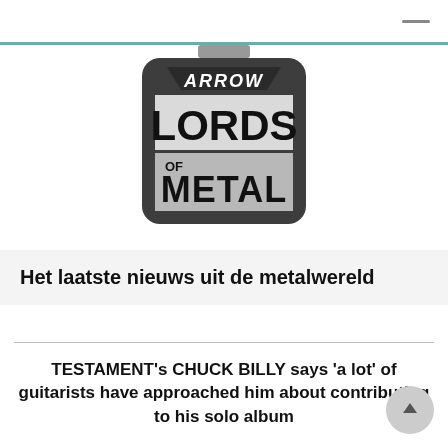[Figure (logo): Arrow Lords of Metal logo — black rounded square with metal-style lettering: ARROW in white italic, LORDS in large black letters on light background, OF METAL in large black letters on grey background]
Het laatste nieuws uit de metalwereld
TESTAMENT's CHUCK BILLY says 'a lot' of guitarists have approached him about contributing to his solo album